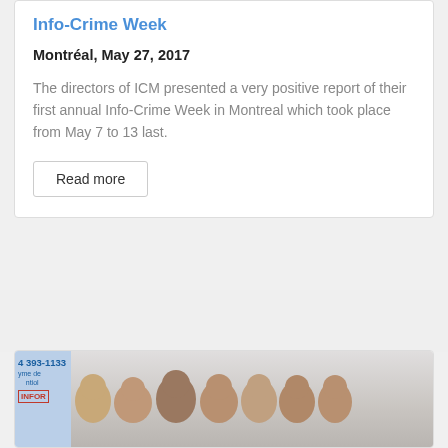Info-Crime Week
Montréal, May 27, 2017
The directors of ICM presented a very positive report of their first annual Info-Crime Week in Montreal which took place from May 7 to 13 last.
Read more
[Figure (photo): Group photo of several men in front of a banner with phone number 514 393-1133 and Info-Crime Montreal branding]